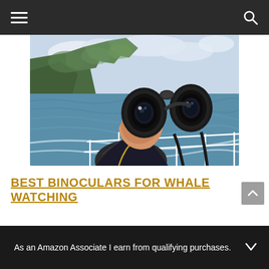Navigation bar with hamburger menu and search icon
[Figure (photo): Person holding black binoculars up against a coastal ocean scene with green mountains in background, taken from a boat with white railing visible]
BEST BINOCULARS FOR WHALE WATCHING
As an Amazon Associate I earn from qualifying purchases.